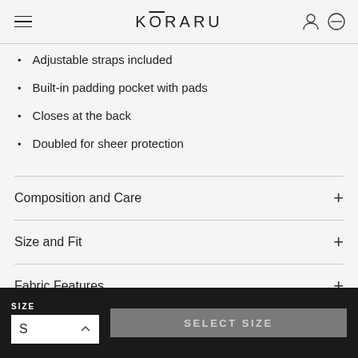KŌRARU
Adjustable straps included
Built-in padding pocket with pads
Closes at the back
Doubled for sheer protection
Composition and Care
Size and Fit
Fabric Features
SIZE S  SELECT SIZE